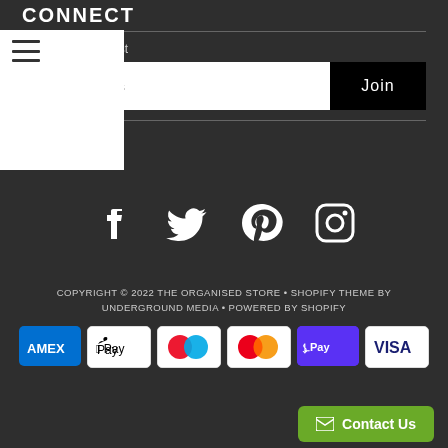CONNECT
Join our Mailing List
r Email Address
Join
[Figure (illustration): Social media icons: Facebook, Twitter, Pinterest, Instagram in white on dark background]
COPYRIGHT © 2022 THE ORGANISED STORE • SHOPIFY THEME BY UNDERGROUND MEDIA • POWERED BY SHOPIFY
[Figure (other): Payment method logos: AMEX, Apple Pay, Mastercard (two overlapping circles), Mastercard, Shop Pay, Visa]
Contact Us